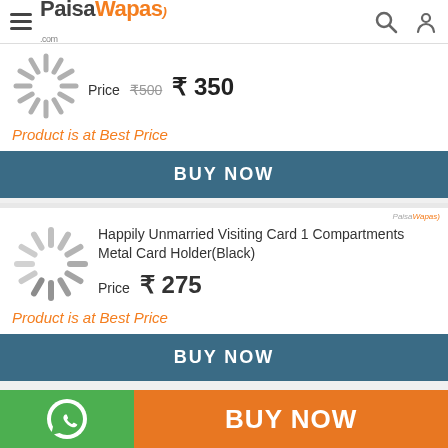PaisaWapas.com
Price ₹500 ₹350
Product is at Best Price
BUY NOW
[Figure (logo): PaisaWapas.com small logo watermark]
Happily Unmarried Visiting Card 1 Compartments Metal Card Holder(Black)
Price ₹275
Product is at Best Price
BUY NOW
[Figure (logo): WhatsApp icon on green background]
BUY NOW